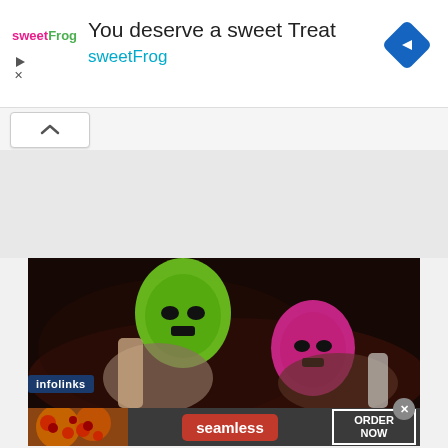[Figure (screenshot): sweetFrog advertisement banner with logo, text 'You deserve a sweet Treat' and 'sweetFrog', and a blue diamond navigation icon]
[Figure (screenshot): Collapse/chevron button bar below ad banner]
[Figure (photo): Dark photo of two figures wearing colorful ski masks (green and pink) lying down]
infolinks
[Figure (screenshot): Seamless food delivery ad showing pizza image on left, seamless red button in center, and ORDER NOW button on right]